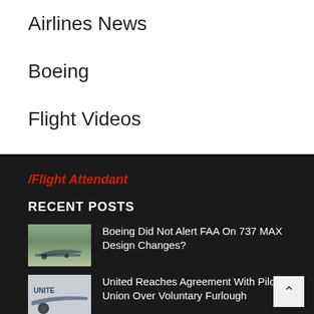Airlines News
Boeing
Flight Videos
/Flight Attendant
RECENT POSTS
Boeing Did Not Alert FAA On 737 MAX Design Changes?
United Reaches Agreement With Pilot Union Over Voluntary Furlough
Boeing reports a first quarter loss of $1.3